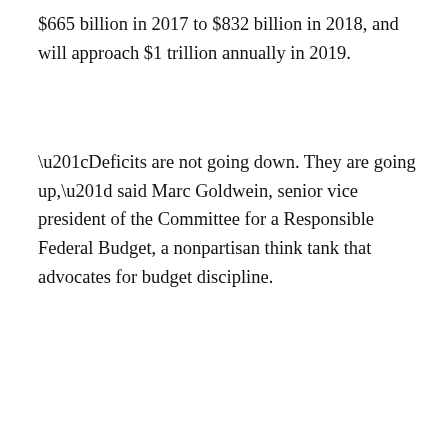$665 billion in 2017 to $832 billion in 2018, and will approach $1 trillion annually in 2019.
“Deficits are not going down. They are going up,” said Marc Goldwein, senior vice president of the Committee for a Responsible Federal Budget, a nonpartisan think tank that advocates for budget discipline.
June 29, 2018
Leave a Reply
Heschel on Politicians
[Figure (photo): Photo with dark blue background showing the top of a person's head with white/grey hair, cropped at the bottom of the page]